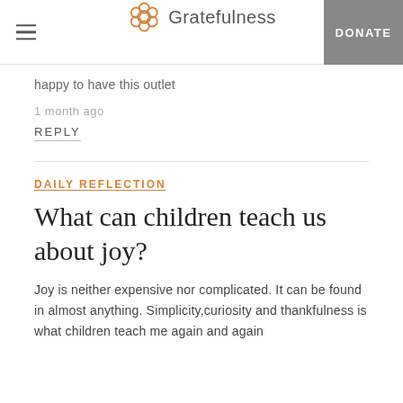Gratefulness | DONATE
happy to have this outlet
1 month ago
REPLY
DAILY REFLECTION
What can children teach us about joy?
Joy is neither expensive nor complicated. It can be found in almost anything. Simplicity,curiosity and thankfulness is what children teach me again and again